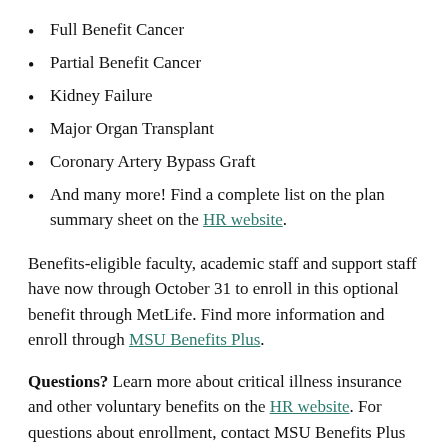Full Benefit Cancer
Partial Benefit Cancer
Kidney Failure
Major Organ Transplant
Coronary Artery Bypass Graft
And many more! Find a complete list on the plan summary sheet on the HR website.
Benefits-eligible faculty, academic staff and support staff have now through October 31 to enroll in this optional benefit through MetLife. Find more information and enroll through MSU Benefits Plus.
Questions? Learn more about critical illness insurance and other voluntary benefits on the HR website. For questions about enrollment, contact MSU Benefits Plus Customer Care at 888-758-7575. Contact the HR Solutions Center